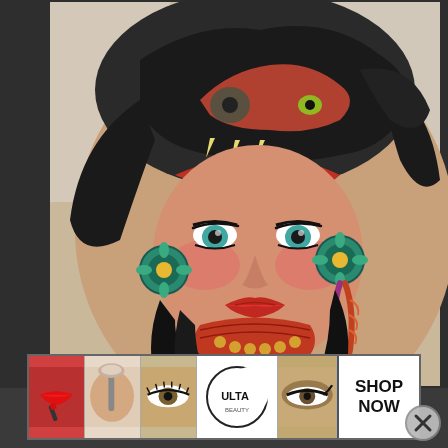[Figure (photo): Tattoo on a person's leg/calf showing a traditional American tattoo of a Native American woman's face with turquoise eyes, rosy cheeks, feather earrings, decorative necklace, and a wolf or animal head headdress on top. The background shows pale skin and white fabric.]
[Figure (photo): Advertisement banner for ULTA Beauty showing a strip of 5 panels: red lips with lipstick brush, woman with makeup brush, eye with eyeliner, ULTA Beauty logo, dramatic eye makeup, and a 'SHOP NOW' call to action panel.]